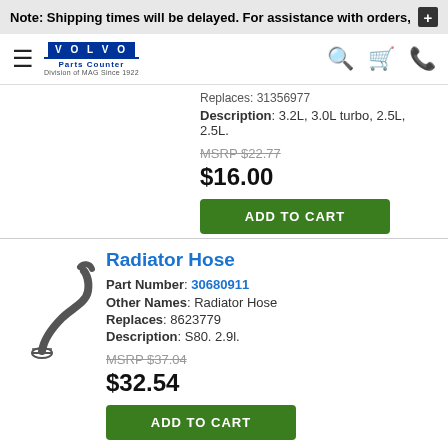Note: Shipping times will be delayed. For assistance with orders,
[Figure (logo): Volvo Parts Counter logo, Division of MAG Since 1922]
Replaces: 31356977
Description: 3.2L, 3.0L turbo, 2.5L, 2.5L.
MSRP $22.77
$16.00
ADD TO CART
Radiator Hose
Part Number: 30680911
Other Names: Radiator Hose
Replaces: 8623779
Description: S80. 2.9l.
MSRP $37.04
$32.54
ADD TO CART